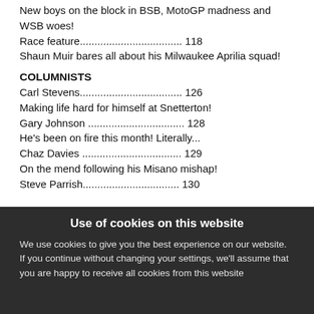New boys on the block in BSB, MotoGP madness and WSB woes!
Race feature…………………………… 118
Shaun Muir bares all about his Milwaukee Aprilia squad!
COLUMNISTS
Carl Stevens…………………………… 126
Making life hard for himself at Snetterton!
Gary Johnson ……………………………… 128
He's been on fire this month! Literally...
Chaz Davies ……………………………… 129
On the mend following his Misano mishap!
Steve Parrish…………………………… 130
Use of cookies on this website
We use cookies to give you the best experience on our website. If you continue without changing your settings, we'll assume that you are happy to receive all cookies from this website